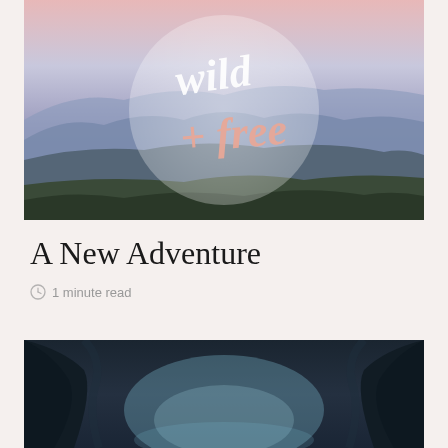[Figure (photo): Mountain landscape at dusk with pink and blue sky, with a circular semi-transparent overlay containing cursive text 'wild + free' in white and salmon/pink color]
A New Adventure
1 minute read
[Figure (photo): Dark moody canyon or gorge with misty blue-teal light filtering through rocky walls]